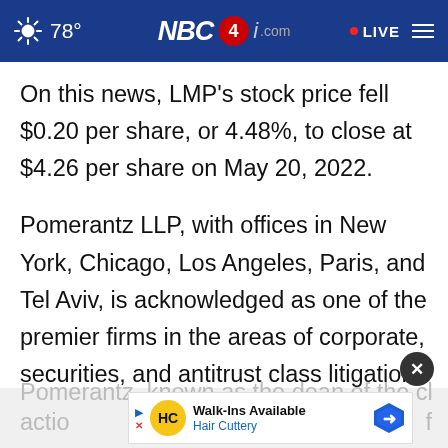78° NBC4i.com LIVE
On this news, LMP's stock price fell $0.20 per share, or 4.48%, to close at $4.26 per share on May 20, 2022.
Pomerantz LLP, with offices in New York, Chicago, Los Angeles, Paris, and Tel Aviv, is acknowledged as one of the premier firms in the areas of corporate, securities, and antitrust class litigation. Founded by the late Abraham L. Pomerantz, known as the dean of the class actio... of
[Figure (screenshot): Hair Cuttery advertisement banner with Walk-Ins Available text]